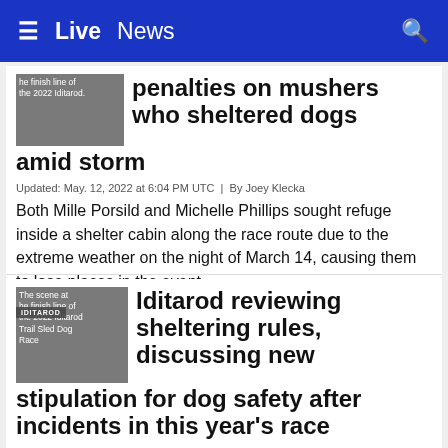≡  Live  News  🔍
[Figure (photo): Thumbnail image showing the finish line of the 2022 Iditarod]
penalties on mushers who sheltered dogs amid storm
Updated: May. 12, 2022 at 6:04 PM UTC  |  By Joey Klecka
Both Mille Porsild and Michelle Phillips sought refuge inside a shelter cabin along the race route due to the extreme weather on the night of March 14, causing them to lose places in the event.
[Figure (photo): Thumbnail image showing the scene at the finish line of the 2022 Iditarod Trail Sled Dog Race with IDITAROD badge]
Iditarod reviewing sheltering rules, discussing new stipulation for dog safety after incidents in this year's race